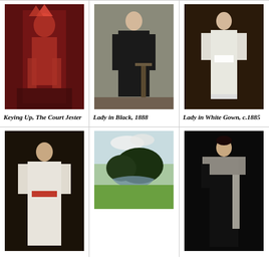[Figure (photo): Painting of a court jester in red costume, Keying Up The Court Jester]
Keying Up, The Court Jester
[Figure (photo): Painting of a lady in black dress standing, Lady in Black 1888]
Lady in Black, 1888
[Figure (photo): Painting of a lady in white gown, Lady in White Gown c.1885]
Lady in White Gown, c.1885
[Figure (photo): Painting of a woman in white dress with red sash]
[Figure (photo): Landscape painting with river and dark trees]
[Figure (photo): Painting of a woman in black dress holding a white wrap]